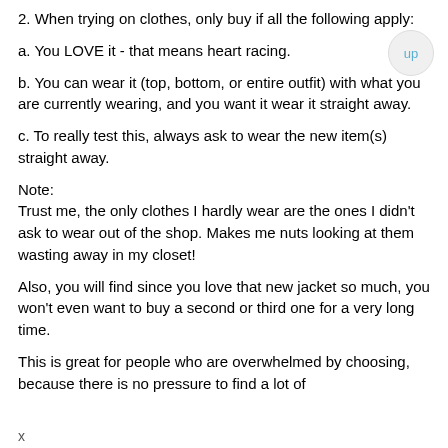2. When trying on clothes, only buy if all the following apply:
a. You LOVE it - that means heart racing.
b. You can wear it (top, bottom, or entire outfit) with what you are currently wearing, and you want it wear it straight away.
c. To really test this, always ask to wear the new item(s) straight away.
Note:
Trust me, the only clothes I hardly wear are the ones I didn't ask to wear out of the shop. Makes me nuts looking at them wasting away in my closet!
Also, you will find since you love that new jacket so much, you won't even want to buy a second or third one for a very long time.
This is great for people who are overwhelmed by choosing, because there is no pressure to find a lot of
x